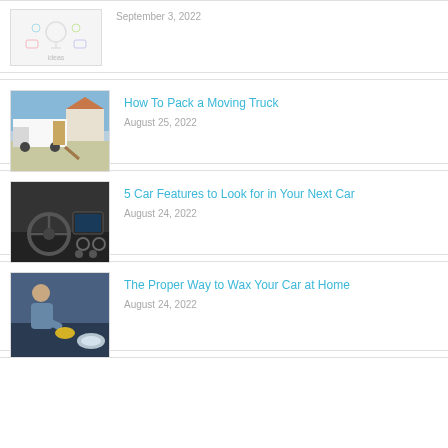[Figure (photo): Illustration with colorful doodles including lightbulbs and speech bubbles representing ideas]
September 3, 2022
[Figure (photo): White moving truck parked in front of a house with ramp extended]
How To Pack a Moving Truck
August 25, 2022
[Figure (photo): Interior of a car showing the steering wheel and dashboard]
5 Car Features to Look for in Your Next Car
August 24, 2022
[Figure (photo): Man waxing a car with a yellow cloth, car headlight visible]
The Proper Way to Wax Your Car at Home
August 24, 2022